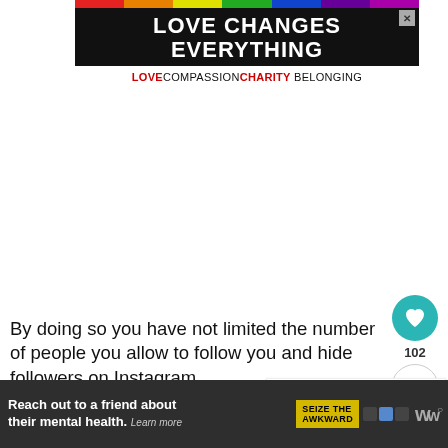[Figure (screenshot): Advertisement banner with rainbow stripe and text 'LOVE CHANGES EVERYTHING' on black background, subtitle 'LOVE COMPASSION CHARITY BELONGING']
By doing so you have not limited the number of people you allow to follow you and hide followers on Instagram.
[Figure (infographic): Heart/like button showing 102 likes and a share button on the right sidebar]
[Figure (screenshot): What's Next widget showing 'How to merge two Instagra...' with thumbnail]
While the people you remove can find your
[Figure (screenshot): Bottom advertisement bar: 'Reach out to a friend about their mental health. Learn more' with 'SEIZE THE AWKWARD' button and WW logo]